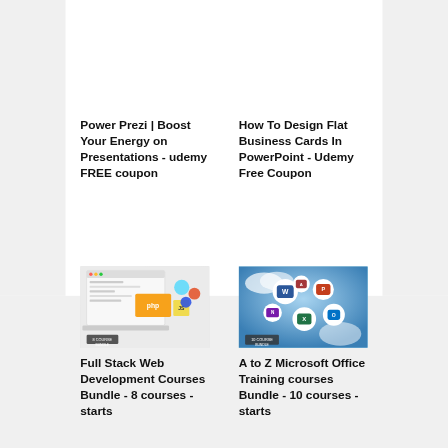Power Prezi | Boost Your Energy on Presentations - udemy FREE coupon
How To Design Flat Business Cards In PowerPoint - Udemy Free Coupon
[Figure (photo): Full Stack Web Development courses bundle thumbnail showing PHP, JavaScript, HTML5, CSS3 icons on a laptop/browser mockup]
Full Stack Web Development Courses Bundle - 8 courses - starts
[Figure (photo): A to Z Microsoft Office Training courses Bundle thumbnail showing Microsoft Office app icons (Word, Excel, PowerPoint, Outlook, OneNote) on blue cloud background]
A to Z Microsoft Office Training courses Bundle - 10 courses - starts